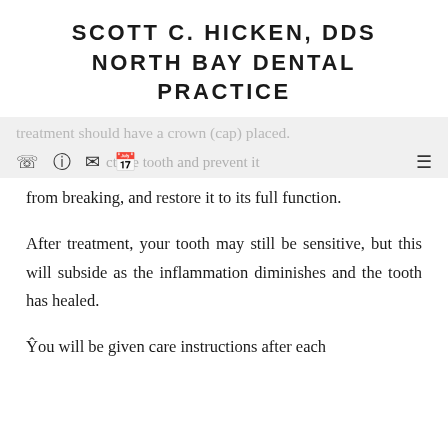SCOTT C. HICKEN, DDS
NORTH BAY DENTAL PRACTICE
treatment should have a crown (cap) placed. This will protect the tooth and prevent it from breaking, and restore it to its full function.
After treatment, your tooth may still be sensitive, but this will subside as the inflammation diminishes and the tooth has healed.
You will be given care instructions after each